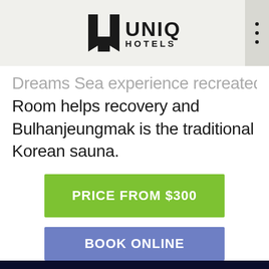[Figure (logo): UNIQ HOTELS logo with stylized U lettermark on a light beige/grey background]
Dreams Sea experience recreated indoor, Charcoal Room helps recovery and Bulhanjeungmak is the traditional Korean sauna.
PRICE FROM $300
BOOK ONLINE
[Figure (photo): Dark blue/black image at bottom of page, appears to be a night scene or interior]